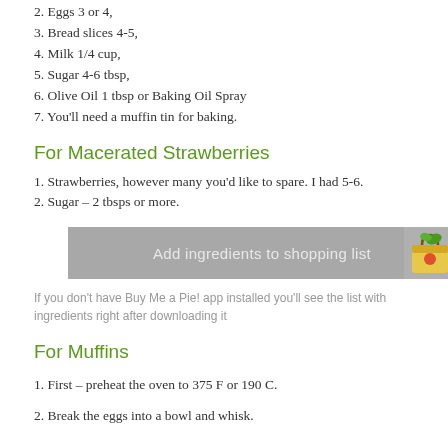2. Eggs 3 or 4,
3. Bread slices 4-5,
4. Milk 1/4 cup,
5. Sugar 4-6 tbsp,
6. Olive Oil 1 tbsp or Baking Oil Spray
7. You'll need a muffin tin for baking.
For Macerated Strawberries
1. Strawberries, however many you'd like to spare. I had 5-6.
2. Sugar – 2 tbsps or more.
[Figure (other): Add ingredients to shopping list button with grocery bag icon]
If you don't have Buy Me a Pie! app installed you'll see the list with ingredients right after downloading it
For Muffins
1. First – preheat the oven to 375 F or 190 C.
2. Break the eggs into a bowl and whisk.